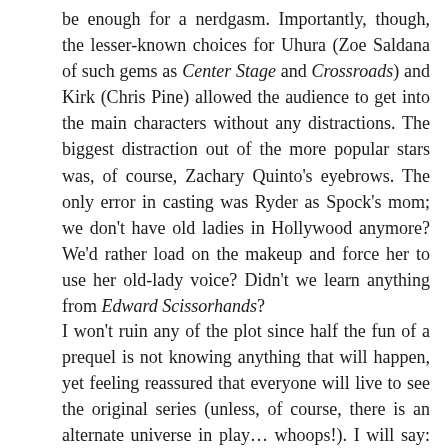be enough for a nerdgasm. Importantly, though, the lesser-known choices for Uhura (Zoe Saldana of such gems as Center Stage and Crossroads) and Kirk (Chris Pine) allowed the audience to get into the main characters without any distractions. The biggest distraction out of the more popular stars was, of course, Zachary Quinto's eyebrows. The only error in casting was Ryder as Spock's mom; we don't have old ladies in Hollywood anymore? We'd rather load on the makeup and force her to use her old-lady voice? Didn't we learn anything from Edward Scissorhands?
I won't ruin any of the plot since half the fun of a prequel is not knowing anything that will happen, yet feeling reassured that everyone will live to see the original series (unless, of course, there is an alternate universe in play… whoops!). I will say: despite inconsistencies with time travel and logic in general (apparently the biggest threat in the future is falling off of cliffs), the movie made up for every